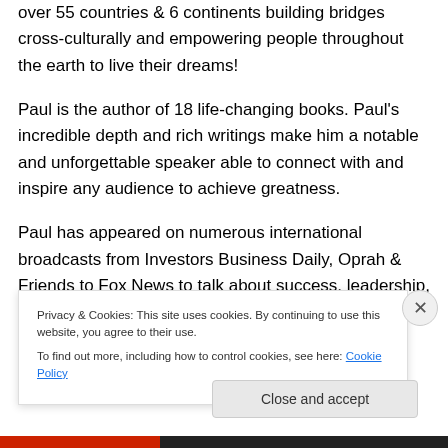over 55 countries & 6 continents building bridges cross-culturally and empowering people throughout the earth to live their dreams!
Paul is the author of 18 life-changing books. Paul's incredible depth and rich writings make him a notable and unforgettable speaker able to connect with and inspire any audience to achieve greatness.
Paul has appeared on numerous international broadcasts from Investors Business Daily, Oprah & Friends to Fox News to talk about success, leadership, relational
Privacy & Cookies: This site uses cookies. By continuing to use this website, you agree to their use.
To find out more, including how to control cookies, see here: Cookie Policy
Close and accept